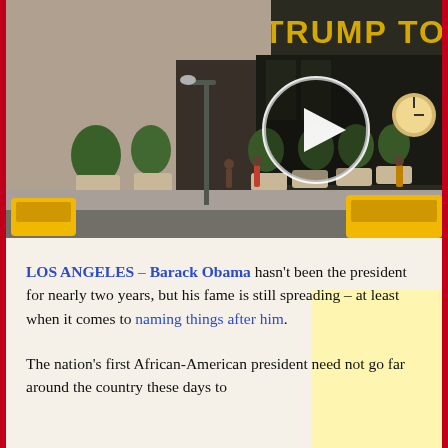[Figure (photo): Street-level photo of Trump Tower in New York City with yellow taxis, trees, pedestrians, and a video play button overlay. The gold 'TRUMP TOWER' sign is visible on the building facade.]
LOS ANGELES – Barack Obama hasn't been the president for nearly two years, but his fame is still spreading – at least when it comes to naming things after him. The nation's first African-American president need not go far around the country these days to